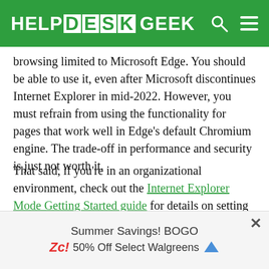HELP DESK GEEK
browsing limited to Microsoft Edge. You should be able to use it, even after Microsoft discontinues Internet Explorer in mid-2022. However, you must refrain from using the functionality for pages that work well in Edge's default Chromium engine. The trade-off in performance and security is just not worth it.
That said, if you're in an organizational environment, check out the Internet Explorer Mode Getting Started guide for details on setting up the policies needed to deploy and activate the functionality for internal and external sites.
[Figure (other): Advertisement banner: Summer Savings! BOGO 50% Off Select Walgreens with close button and blue arrow icon]